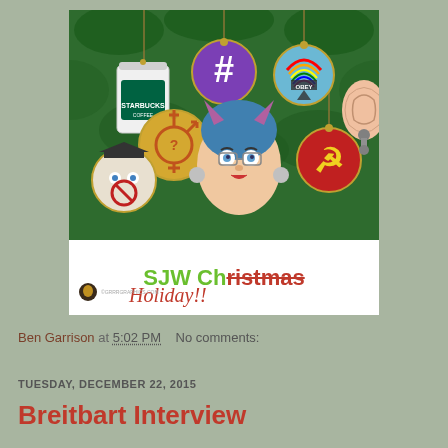[Figure (illustration): Illustration of Christmas tree ornaments with various symbols (Starbucks cup, hashtag, rainbow with OBEY, gender symbol, SJW caricature face, communist hammer and sickle, ear) with text banner reading 'SJW Christmas Holiday!!' (Christmas crossed out and replaced with Holiday in red). Copyright grrrgraphics.com]
Ben Garrison at 5:02 PM   No comments:
TUESDAY, DECEMBER 22, 2015
Breitbart Interview